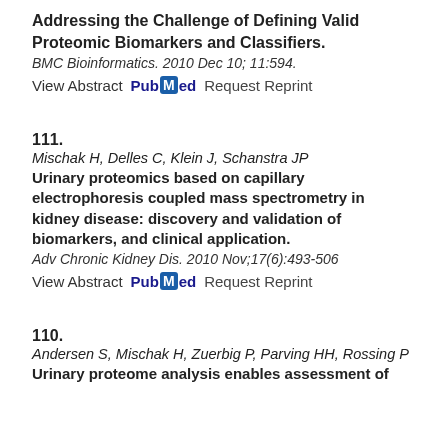Addressing the Challenge of Defining Valid Proteomic Biomarkers and Classifiers.
BMC Bioinformatics. 2010 Dec 10; 11:594.
View Abstract PubMed Request Reprint
111.
Mischak H, Delles C, Klein J, Schanstra JP
Urinary proteomics based on capillary electrophoresis coupled mass spectrometry in kidney disease: discovery and validation of biomarkers, and clinical application.
Adv Chronic Kidney Dis. 2010 Nov;17(6):493-506
View Abstract PubMed Request Reprint
110.
Andersen S, Mischak H, Zuerbig P, Parving HH, Rossing P
Urinary proteome analysis enables assessment of